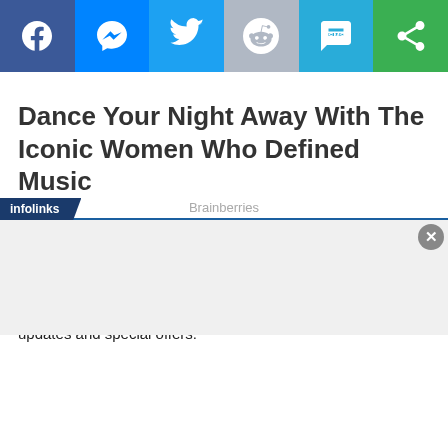[Figure (other): Social sharing toolbar with icons for Facebook, Messenger, Twitter, Reddit, SMS, and a share button on colored backgrounds]
Dance Your Night Away With The Iconic Women Who Defined Music
Brainberries
SUBSCRIBE TO RATCHETFRIDAYMEDIA TODAY!
Subscribe to our newsletter today to receive the latest news, updates and special offers.
[Figure (other): Infolinks advertisement bar at the bottom of the page with a close button]